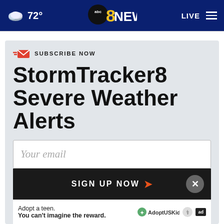72° abc8NEWS LIVE
SUBSCRIBE NOW
StormTracker8 Severe Weather Alerts
Your email
SIGN UP NOW
Adopt a teen. You can't imagine the reward.